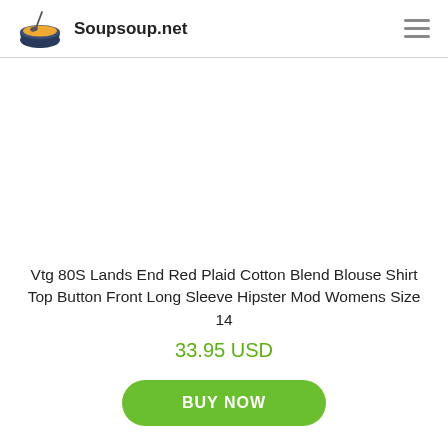Soupsoup.net
[Figure (photo): Product image area (blank/white) for a vintage blouse shirt]
Vtg 80S Lands End Red Plaid Cotton Blend Blouse Shirt Top Button Front Long Sleeve Hipster Mod Womens Size 14
33.95 USD
BUY NOW